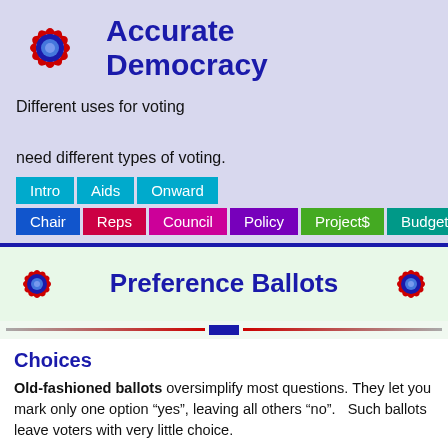Accurate Democracy
Different uses for voting
need different types of voting.
Intro | Aids | Onward
Chair | Reps | Council | Policy | Project$ | Budget
Preference Ballots
Choices
Old-fashioned ballots oversimplify most questions. They let you mark only one option “yes”, leaving all others “no”.   Such ballots leave voters with very little choice.